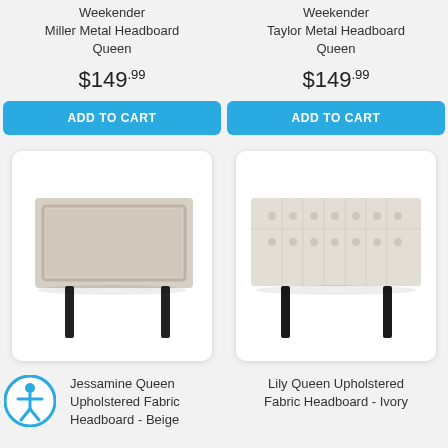Weekender Miller Metal Headboard Queen
$149.99
ADD TO CART
Weekender Taylor Metal Headboard Queen
$149.99
ADD TO CART
[Figure (photo): Jessamine Queen Upholstered Fabric Headboard in beige/linen, showing a padded rectangular headboard with decorative border stitching and two dark metal legs]
[Figure (photo): Lily Queen Upholstered Fabric Headboard in ivory, showing a tufted padded headboard with grid button tufting pattern and two dark metal legs]
Jessamine Queen Upholstered Fabric Headboard - Beige
Lily Queen Upholstered Fabric Headboard - Ivory